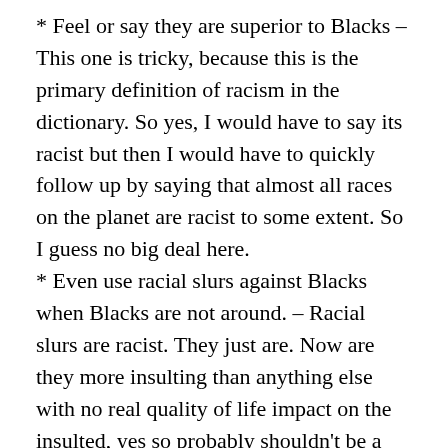* Feel or say they are superior to Blacks – This one is tricky, because this is the primary definition of racism in the dictionary. So yes, I would have to say its racist but then I would have to quickly follow up by saying that almost all races on the planet are racist to some extent. So I guess no big deal here.
* Even use racial slurs against Blacks when Blacks are not around. – Racial slurs are racist. They just are. Now are they more insulting than anything else with no real quality of life impact on the insulted, yes so probably shouldn't be a big deal considering all the other major issues to deal with. But let me be clear: using a racial slur does not in itself make someone a closet racist. Some may think it's a distinction with no difference, but I think it h